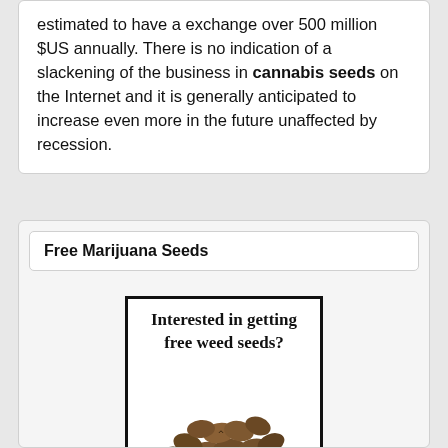estimated to have a exchange over 500 million $US annually. There is no indication of a slackening of the business in cannabis seeds on the Internet and it is generally anticipated to increase even more in the future unaffected by recession.
Free Marijuana Seeds
[Figure (illustration): Advertisement box with bold text 'Interested in getting free weed seeds?' and a photograph of a pile of cannabis seeds below the text, framed with a thick black border.]